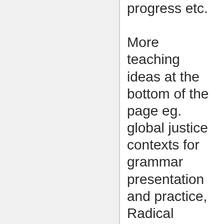progress etc. More teaching ideas at the bottom of the page eg. global justice contexts for grammar presentation and practice, Radical Phonology, quick skills lessons, dictations, staged reading lessons, 1-1s etc. and